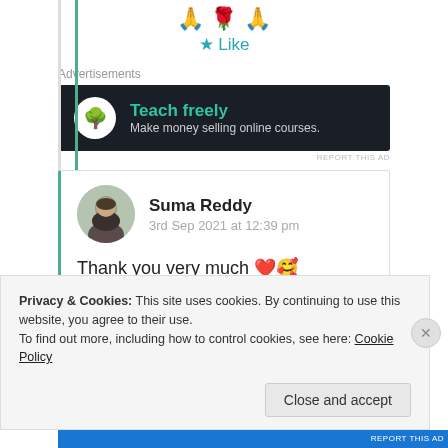🙏 🌹 🙏
★ Like
Advertisements
[Figure (other): Advertisement banner: dark background with tree/bonsai icon in white circle, teal text 'Teach freely', grey subtext 'Make money selling online courses.']
REPORT THIS AD
Suma Reddy
3rd Sep 2021 at 12:39 pm
Thank you very much ❤️🥰
Privacy & Cookies: This site uses cookies. By continuing to use this website, you agree to their use.
To find out more, including how to control cookies, see here: Cookie Policy
Close and accept